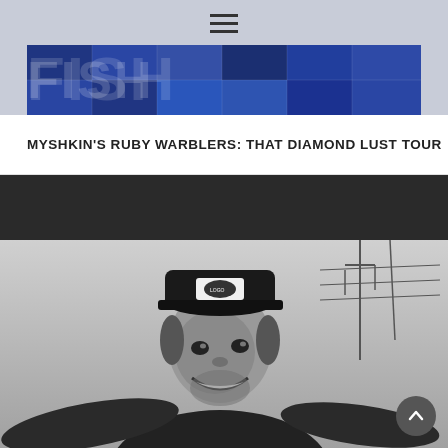[Figure (screenshot): Website header with hamburger menu icon and blue banner with grid pattern overlay containing ghost/watermark text]
MYSHKIN'S RUBY WARBLERS: THAT DIAMOND LUST TOUR
[Figure (photo): Black and white photograph of a smiling bearded man wearing a dark trucker/baseball cap with a logo, arms outstretched, outdoors with power lines visible in the background]